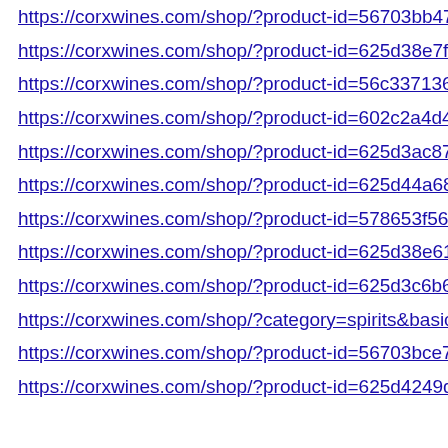https://corxwines.com/shop/?product-id=56703bb47562…
https://corxwines.com/shop/?product-id=625d38e7f15bf…
https://corxwines.com/shop/?product-id=56c337136970…
https://corxwines.com/shop/?product-id=602c2a4d4b9e…
https://corxwines.com/shop/?product-id=625d3ac87614…
https://corxwines.com/shop/?product-id=625d44a68508…
https://corxwines.com/shop/?product-id=578653f56970…
https://corxwines.com/shop/?product-id=625d38e61470…
https://corxwines.com/shop/?product-id=625d3c6b6651…
https://corxwines.com/shop/?category=spirits&basic-cat…
https://corxwines.com/shop/?product-id=56703bce7562…
https://corxwines.com/shop/?product-id=625d4249d59f…